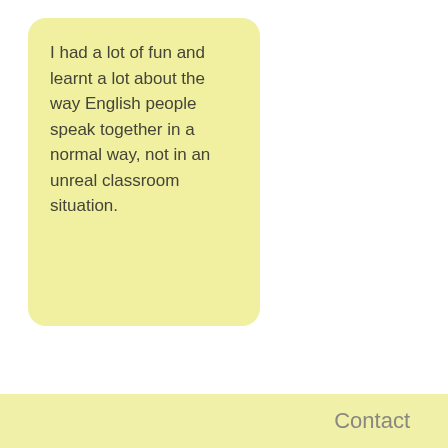I had a lot of fun and learnt a lot about the way English people speak together in a normal way, not in an unreal classroom situation.
[Figure (logo): Partial logo with blue and green leaf/teardrop shapes visible at bottom left]
Contact